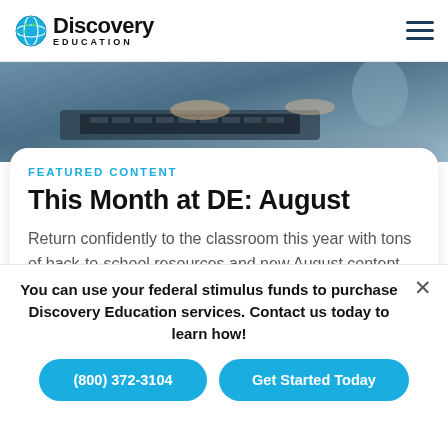Discovery Education
[Figure (photo): Person's hands typing on a laptop keyboard, close-up shot with another person visible in background]
FEATURED CONTENT
This Month at DE: August
Return confidently to the classroom this year with tons of back-to-school resources and new August content from DE!
[Figure (photo): Partial view of a student, head visible from behind]
You can use your federal stimulus funds to purchase Discovery Education services. Contact us today to learn how!
(800) 372-3104
Get Started Today